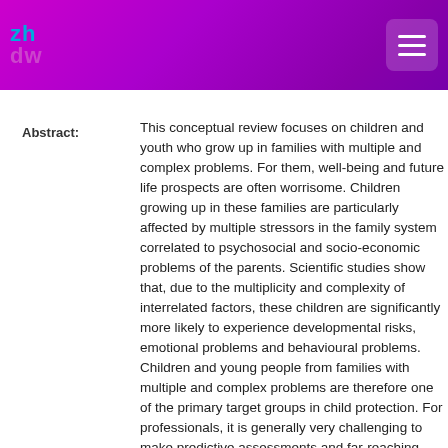zh dw (logo)
Abstract:
This conceptual review focuses on children and youth who grow up in families with multiple and complex problems. For them, well-being and future life prospects are often worrisome. Children growing up in these families are particularly affected by multiple stressors in the family system correlated to psychosocial and socio-economic problems of the parents. Scientific studies show that, due to the multiplicity and complexity of interrelated factors, these children are significantly more likely to experience developmental risks, emotional problems and behavioural problems. Children and young people from families with multiple and complex problems are therefore one of the primary target groups in child protection. For professionals, it is generally very challenging to make predictive assessments and far-reaching decisions in child protection. This is especially true in support services for families with multiple and complex problems, because the problems are so numerous